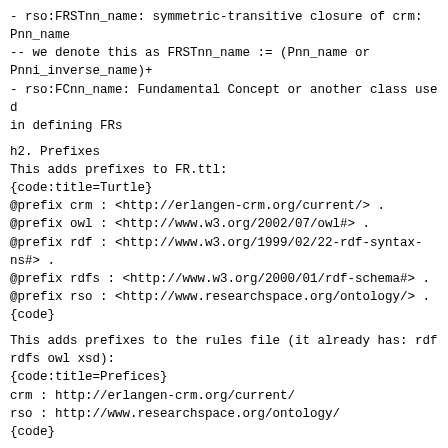- rso:FRSTnn_name: symmetric-transitive closure of crm:Pnn_name
-- we denote this as FRSTnn_name := (Pnn_name or Pnni_inverse_name)+
- rso:FCnn_name: Fundamental Concept or another class used in defining FRs
h2. Prefixes
This adds prefixes to FR.ttl:
{code:title=Turtle}
@prefix crm : <http://erlangen-crm.org/current/> .
@prefix owl : <http://www.w3.org/2002/07/owl#> .
@prefix rdf : <http://www.w3.org/1999/02/22-rdf-syntax-ns#> .
@prefix rdfs : <http://www.w3.org/2000/01/rdf-schema#> .
@prefix rso : <http://www.researchspace.org/ontology/> .
{code}
This adds prefixes to the rules file (it already has: rdf rdfs owl xsd):
{code:title=Prefices}
crm : http://erlangen-crm.org/current/
rso : http://www.researchspace.org/ontology/
{code}
h2. Transitive Properties
ECRM declares appropriate CRM properties as owl:TransitiveProperty.
For some reason it doesn't declare P9,P46 transitive, though it does it for other "part of" properties, eg P106,P148. I posted a bug to CRM SIG and fix it here:
{code:title=Axioms}